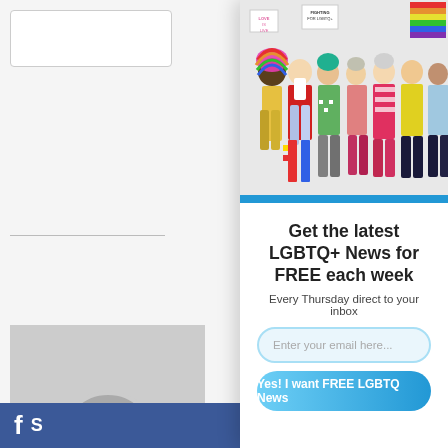[Figure (photo): Left column background showing partial website content with thumbnail images and a Facebook bar at bottom]
[Figure (photo): Group of diverse people in colorful pride outfits holding rainbow flags and signs saying LOVE IS LIVE and FIGHTING FOR LGBTQ+]
Get the latest LGBTQ+ News for FREE each week
Every Thursday direct to your inbox
Enter your email here...
Yes! I want FREE LGBTQ News